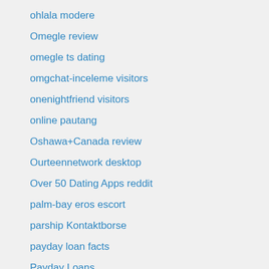ohlala modere
Omegle review
omegle ts dating
omgchat-inceleme visitors
onenightfriend visitors
online pautang
Oshawa+Canada review
Ourteennetwork desktop
Over 50 Dating Apps reddit
palm-bay eros escort
parship Kontaktborse
payday loan facts
Payday Loans
payday loans net
payday loans ohio